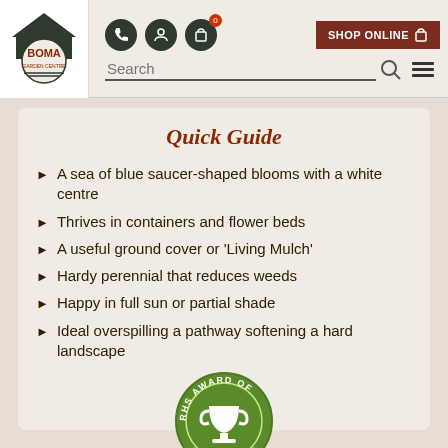[Figure (logo): BOMA Garden Centre logo with house/roof icon in dark green and terracotta text]
[Figure (screenshot): Navigation header with phone, account, basket icons and SHOP ONLINE button]
Quick Guide
A sea of blue saucer-shaped blooms with a white centre
Thrives in containers and flower beds
A useful ground cover or 'Living Mulch'
Hardy perennial that reduces weeds
Happy in full sun or partial shade
Ideal overspilling a pathway softening a hard landscape
[Figure (logo): RHS Award of Garden Merit circular green badge with trophy icon]